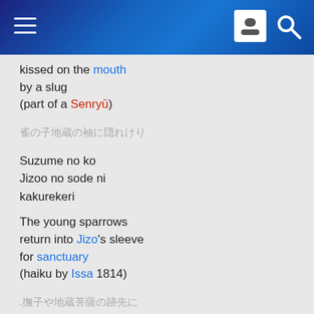Header bar with hamburger menu, user icon, and search icon
kissed on the mouth
by a slug
(part of a Senryū)
雀の子地蔵の袖に隠れけり
Suzume no ko
Jizoo no sode ni
kakurekeri
The young sparrows
return into Jizo's sleeve
for sanctuary
(haiku by Issa 1814)
.撫子や地蔵菩薩の跡先に
Nadeshiko ya
jizô bosatsu no
ato saki ni